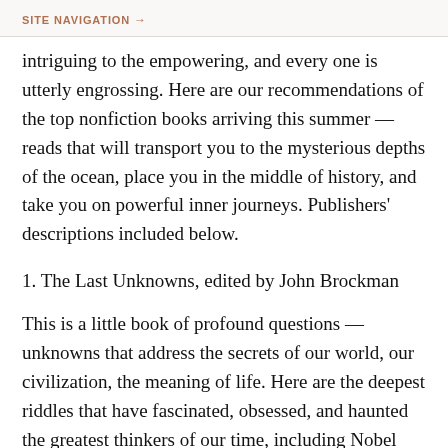SITE NAVIGATION →
intriguing to the empowering, and every one is utterly engrossing. Here are our recommendations of the top nonfiction books arriving this summer — reads that will transport you to the mysterious depths of the ocean, place you in the middle of history, and take you on powerful inner journeys. Publishers' descriptions included below.
1. The Last Unknowns, edited by John Brockman
This is a little book of profound questions —unknowns that address the secrets of our world, our civilization, the meaning of life. Here are the deepest riddles that have fascinated, obsessed, and haunted the greatest thinkers of our time, including Nobel laureates, cosmologists,